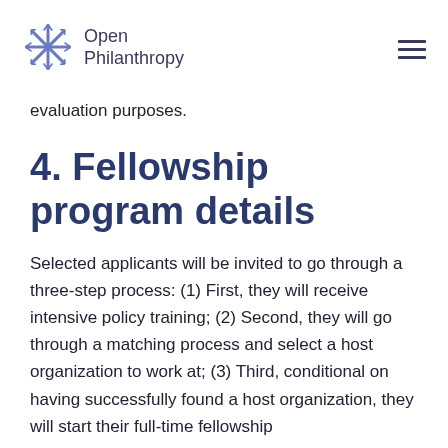Open Philanthropy
evaluation purposes.
4. Fellowship program details
Selected applicants will be invited to go through a three-step process: (1) First, they will receive intensive policy training; (2) Second, they will go through a matching process and select a host organization to work at; (3) Third, conditional on having successfully found a host organization, they will start their full-time fellowship